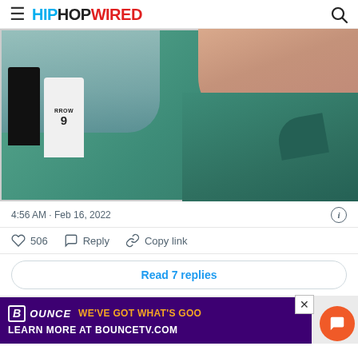HIPHOPWIRED
[Figure (photo): Close-up selfie of a person wearing a teal/green polo shirt at what appears to be a sports event. Crowd visible in background with jersey showing number 9 and letters 'RROW'.]
4:56 AM · Feb 16, 2022
506 Reply Copy link
Read 7 replies
[Figure (infographic): Bounce TV advertisement banner: 'BOUNCE WE'VE GOT WHAT'S GOO[D] LEARN MORE AT BOUNCETV.COM']